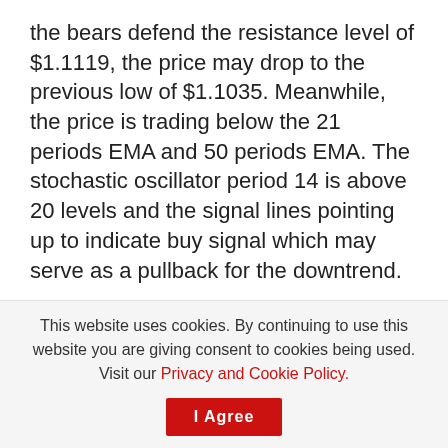the bears defend the resistance level of $1.1119, the price may drop to the previous low of $1.1035. Meanwhile, the price is trading below the 21 periods EMA and 50 periods EMA. The stochastic oscillator period 14 is above 20 levels and the signal lines pointing up to indicate buy signal which may serve as a pullback for the downtrend.
EURUSD medium-term Trend: Bearish
EURUSD is bearish on the medium-term
This website uses cookies. By continuing to use this website you are giving consent to cookies being used. Visit our Privacy and Cookie Policy. I Agree